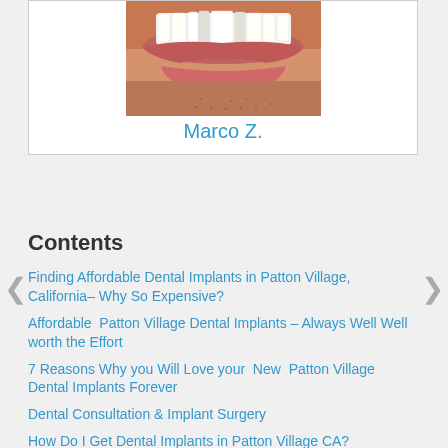[Figure (photo): Close-up photo of a person's mouth showing teeth with gaps, cropped to show lips and lower face with stubble]
Marco Z.
Contents
Finding Affordable Dental Implants in Patton Village, California– Why So Expensive?
Affordable Patton Village Dental Implants – Always Well Well worth the Effort
7 Reasons Why you Will Love your New Patton Village Dental Implants Forever
Dental Consultation & Implant Surgery
How Do I Get Dental Implants in Patton Village CA?